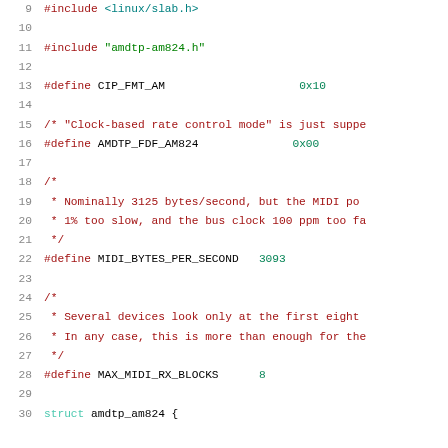[Figure (screenshot): Source code listing in C showing lines 9-30 of a Linux kernel driver file. Lines include #include directives, #define macros for CIP_FMT_AM (0x10), AMDTP_FDF_AM824 (0x00), MIDI_BYTES_PER_SECOND (3093), MAX_MIDI_RX_BLOCKS (8), and block comments about clock-based rate control mode, MIDI byte rates, and device block sizes. The final visible line starts a struct amdtp_am824 definition.]